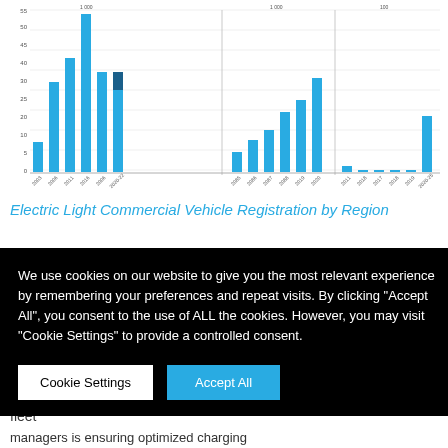[Figure (bar-chart): Electric Light Commercial Vehicle Registration by Region]
Electric Light Commercial Vehicle Registration by Region
gion, 2015-2020,
rts/electric-lcvs-20
We use cookies on our website to give you the most relevant experience by remembering your preferences and repeat visits. By clicking "Accept All", you consent to the use of ALL the cookies. However, you may visit "Cookie Settings" to provide a controlled consent.
fleet managers is ensuring optimized charging